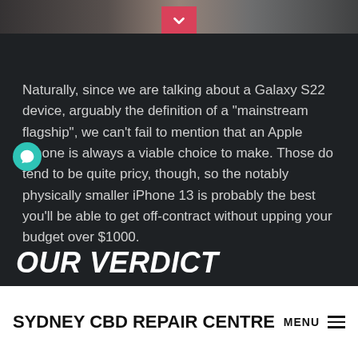[Figure (photo): Partial image visible at top of page, appears to be a person, cropped. Dark background with pink/red chevron down button centered at top.]
Naturally, since we are talking about a Galaxy S22 device, arguably the definition of a “mainstream flagship”, we can’t fail to mention that an Apple iPhone is always a viable choice to make. Those do tend to be quite pricy, though, so the notably physically smaller iPhone 13 is probably the best you’ll be able to get off-contract without upping your budget over $1000.
OUR VERDICT
SYDNEY CBD REPAIR CENTRE MENU ≡